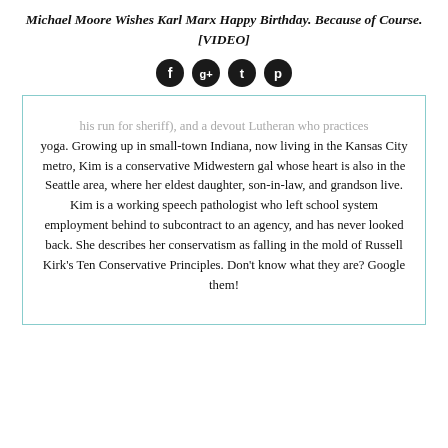Michael Moore Wishes Karl Marx Happy Birthday. Because of Course. [VIDEO]
[Figure (other): Social media share icons: Facebook, Google+, Twitter, Pinterest]
his run for sheriff), and a devout Lutheran who practices yoga. Growing up in small-town Indiana, now living in the Kansas City metro, Kim is a conservative Midwestern gal whose heart is also in the Seattle area, where her eldest daughter, son-in-law, and grandson live. Kim is a working speech pathologist who left school system employment behind to subcontract to an agency, and has never looked back. She describes her conservatism as falling in the mold of Russell Kirk's Ten Conservative Principles. Don't know what they are? Google them!